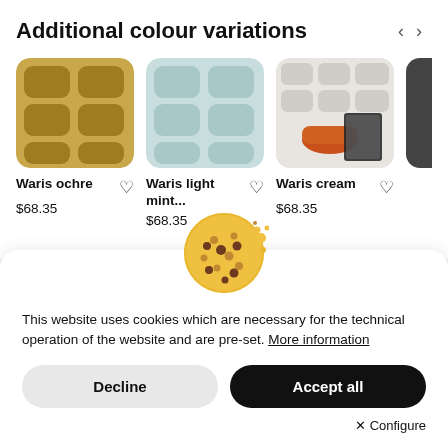Additional colour variations
[Figure (photo): Waris ochre wallpaper product thumbnail - golden/ochre colored rounded rectangle pattern]
Waris ochre
$68.35
[Figure (photo): Waris light mint wallpaper product thumbnail - light teal/mint colored rounded rectangle pattern]
Waris light mint...
$68.35
[Figure (photo): Waris cream wallpaper product thumbnail - room scene with orange chair against white brick/stone pattern wallpaper]
Waris cream
$68.35
[Figure (illustration): Cookie emoji icon - chocolate chip cookie with crumbs]
This website uses cookies which are necessary for the technical operation of the website and are pre-set. More information
Decline
Accept all
Configure